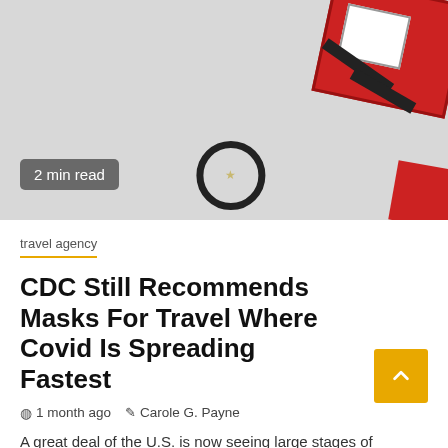[Figure (photo): Photo of a red gift box with black strap and a black ring/hair tie on a light gray background, with a small star charm]
2 min read
travel agency
CDC Still Recommends Masks For Travel Where Covid Is Spreading Fastest
1 month ago  Carole G. Payne
A great deal of the U.S. is now seeing large stages of